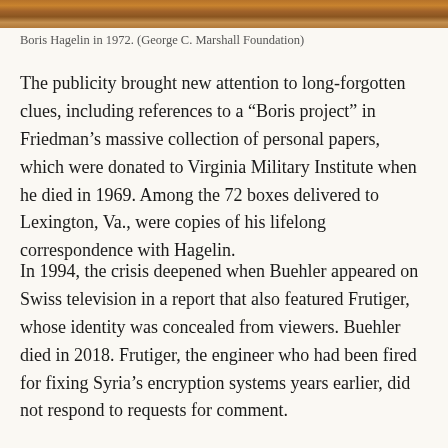[Figure (photo): Partial photo strip at top of page showing Boris Hagelin, warm brown/orange tones]
Boris Hagelin in 1972. (George C. Marshall Foundation)
The publicity brought new attention to long-forgotten clues, including references to a “Boris project” in Friedman’s massive collection of personal papers, which were donated to Virginia Military Institute when he died in 1969. Among the 72 boxes delivered to Lexington, Va., were copies of his lifelong correspondence with Hagelin.
In 1994, the crisis deepened when Buehler appeared on Swiss television in a report that also featured Frutiger, whose identity was concealed from viewers. Buehler died in 2018. Frutiger, the engineer who had been fired for fixing Syria’s encryption systems years earlier, did not respond to requests for comment.